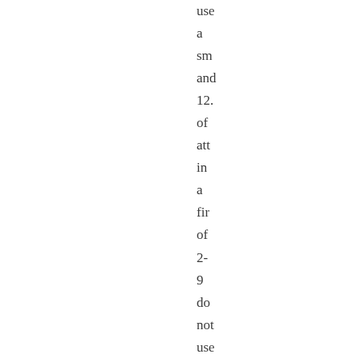use a sm and 12. of att in a fir of 2- 9 do not use a sm On